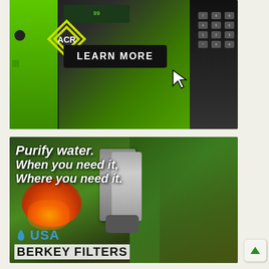[Figure (photo): ACR advertisement showing green rugged emergency device and satellite communicator with 'LEARN MORE' button and cursor arrow, on dark and green gradient background]
[Figure (photo): USA Berkey Filters advertisement showing man using stainless steel water filter outdoors with fire in background. Text reads: 'Purify water. When you need it, Where you need it.' Logo shows water drop with 'USA BERKEY FILTERS' text.]